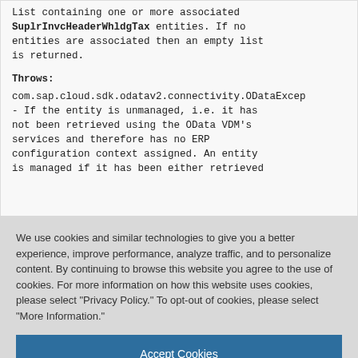List containing one or more associated SuplrInvcHeaderWhldgTax entities. If no entities are associated then an empty list is returned.
Throws:
com.sap.cloud.sdk.odatav2.connectivity.ODataExcep - If the entity is unmanaged, i.e. it has not been retrieved using the OData VDM's services and therefore has no ERP configuration context assigned. An entity is managed if it has been either retrieved
We use cookies and similar technologies to give you a better experience, improve performance, analyze traffic, and to personalize content. By continuing to browse this website you agree to the use of cookies. For more information on how this website uses cookies, please select "Privacy Policy." To opt-out of cookies, please select "More Information."
Accept Cookies
More Information
Privacy Policy | Powered by: TrustArc
Retrieval of associated